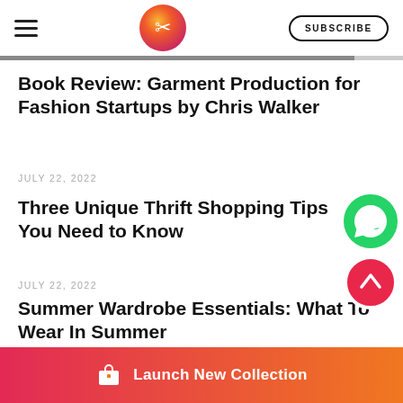SUBSCRIBE
Book Review: Garment Production for Fashion Startups by Chris Walker
JULY 22, 2022
Three Unique Thrift Shopping Tips You Need to Know
JULY 22, 2022
Summer Wardrobe Essentials: What To Wear In Summer
[Figure (logo): Circular gradient logo with scissors icon]
[Figure (illustration): WhatsApp chat icon button (green circle)]
[Figure (illustration): Scroll-up arrow button (red circle)]
Launch New Collection